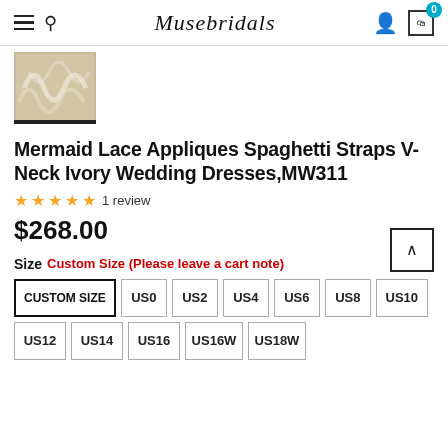Musebridals
[Figure (photo): Thumbnail image of ivory lace wedding dress fabric detail]
Mermaid Lace Appliques Spaghetti Straps V-Neck Ivory Wedding Dresses,MW311
★★★★★ 1 review
$268.00
Size Custom Size (Please leave a cart note)
CUSTOM SIZE  US0  US2  US4  US6  US8  US10  US12  US14  US16  US16W  US18W